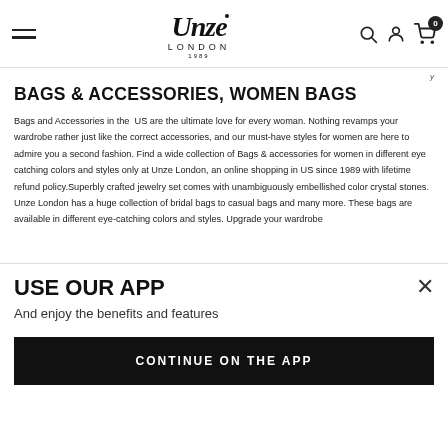Unze London — navigation header with hamburger menu, logo, search, account, and cart icons
y
BAGS & ACCESSORIES, WOMEN BAGS
Bags and Accessories in the US are the ultimate love for every woman. Nothing revamps your wardrobe rather just like the correct accessories, and our must-have styles for women are here to admire you a second fashion. Find a wide collection of Bags & accessories for women in different eye catching colors and styles only at Unze London, an online shopping in US since 1989 with lifetime refund policy.Superbly crafted jewelry set comes with unambiguously embellished color crystal stones. Unze London has a huge collection of bridal bags to casual bags and many more. These bags are available in different eye-catching colors and styles. Upgrade your wardrobe
USE OUR APP
And enjoy the benefits and features
CONTINUE ON THE APP